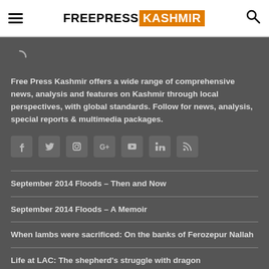FREEPRESS KASHMIR
[Figure (illustration): Loading spinner/arc icon in gray on dark background]
Free Press Kashmir offers a wide range of comprehensive news, analysis and features on Kashmir through local perspectives, with global standards. Follow for news, analysis, special reports & multimedia packages.
[Figure (infographic): Social media icons row: Facebook, Twitter, Instagram, Google+, YouTube, LinkedIn, RSS]
September 2014 Floods – Then and Now
September 2014 Floods – A Memoir
When lambs were sacrificed: On the banks of Ferozepur Nallah
Life at LAC: The shepherd's struggle with dragon